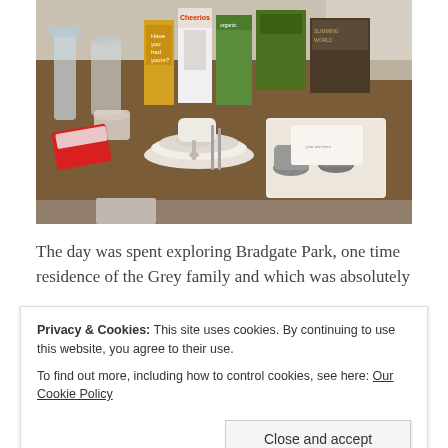[Figure (photo): A photograph of a kitchen counter/table with various food items including cereal boxes (Cheerios, others), jars, glasses, plates, cups with spoons, a tray with mugs and a card, and a packet on the left.]
The day was spent exploring Bradgate Park, one time residence of the Grey family and which was absolutely
Privacy & Cookies: This site uses cookies. By continuing to use this website, you agree to their use.
To find out more, including how to control cookies, see here: Our Cookie Policy
[Figure (photo): Partial view of a photograph showing trees or outdoor scenery, cropped at bottom of page.]